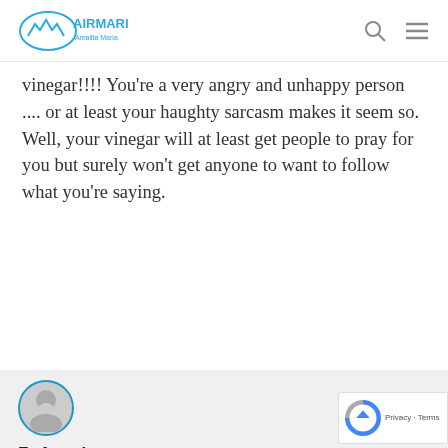AIRMARIA — navigation header with logo, search, and menu icons
vinegar!!!! You're a very angry and unhappy person .... or at least your haughty sarcasm makes it seem so. Well, your vinegar will at least get people to pray for you but surely won't get anyone to want to follow what you're saying.
Reply
Fr Angelo
February 20, 2012 at 9:17 pm
Cynic,